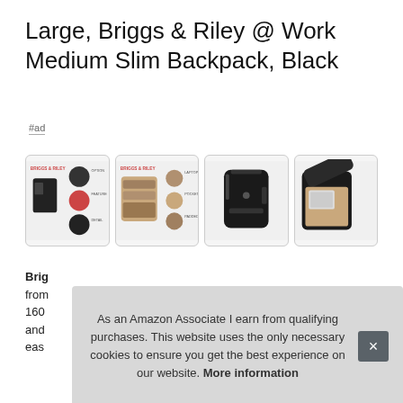Large, Briggs & Riley @ Work Medium Slim Backpack, Black
#ad
[Figure (photo): Four product images of the Briggs & Riley @ Work Medium Slim Backpack (black): feature diagram, interior diagram, back view, and open compartment view]
Brig…
from
160
and
eas…
As an Amazon Associate I earn from qualifying purchases. This website uses the only necessary cookies to ensure you get the best experience on our website. More information